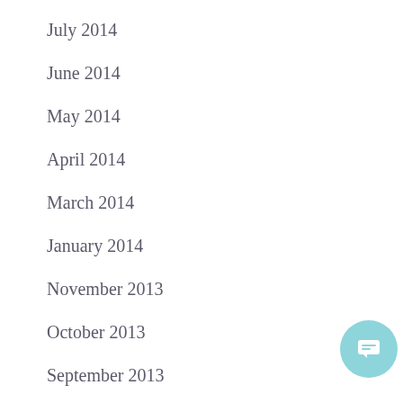July 2014
June 2014
May 2014
April 2014
March 2014
January 2014
November 2013
October 2013
September 2013
August 2013